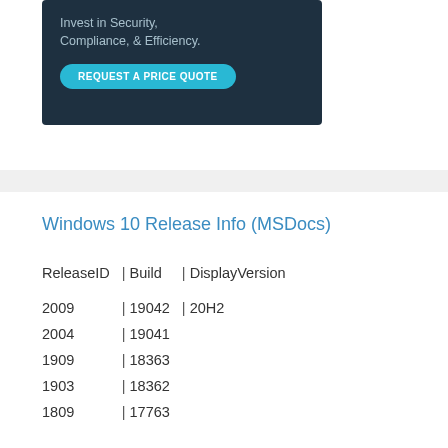[Figure (screenshot): Dark navy advertisement banner with text 'Invest in Security, Compliance, & Efficiency.' and a cyan 'REQUEST A PRICE QUOTE' button]
Windows 10 Release Info (MSDocs)
| ReleaseID | Build | DisplayVersion |
| --- | --- | --- |
| 2009 | 19042 | 20H2 |
| 2004 | 19041 |  |
| 1909 | 18363 |  |
| 1903 | 18362 |  |
| 1809 | 17763 |  |